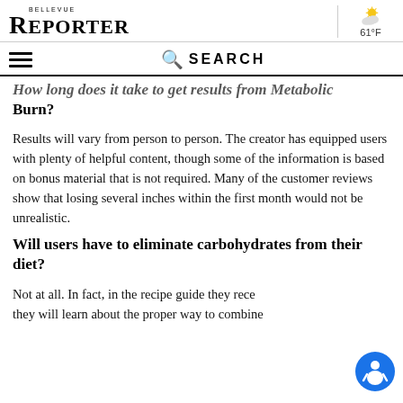BELLEVUE REPORTER — 61°F
How long does it take to get results from Metabolic Burn?
Results will vary from person to person. The creator has equipped users with plenty of helpful content, though some of the information is based on bonus material that is not required. Many of the customer reviews show that losing several inches within the first month would not be unrealistic.
Will users have to eliminate carbohydrates from their diet?
Not at all. In fact, in the recipe guide they receive, they will learn about the proper way to combine